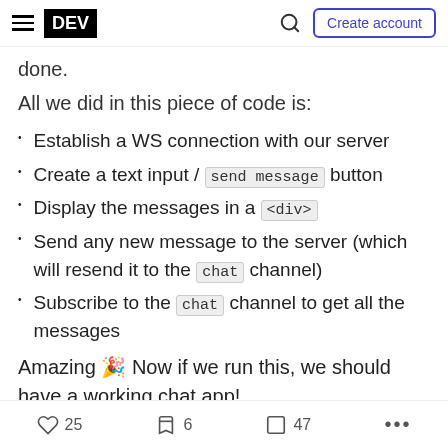DEV | Create account
done.
All we did in this piece of code is:
Establish a WS connection with our server
Create a text input / send message button
Display the messages in a <div>
Send any new message to the server (which will resend it to the chat channel)
Subscribe to the chat channel to get all the messages
Amazing 🎉 Now if we run this, we should have a working chat app!
go to the terminal and run npm start
25 reactions  6 comments  47 saves